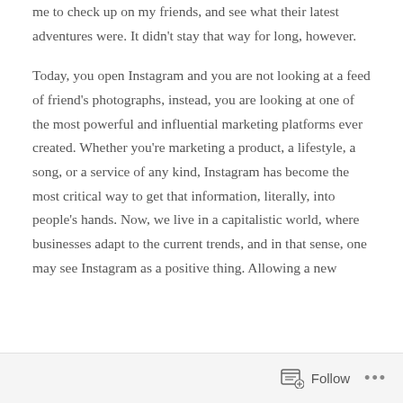me to check up on my friends, and see what their latest adventures were. It didn't stay that way for long, however.
Today, you open Instagram and you are not looking at a feed of friend's photographs, instead, you are looking at one of the most powerful and influential marketing platforms ever created. Whether you're marketing a product, a lifestyle, a song, or a service of any kind, Instagram has become the most critical way to get that information, literally, into people's hands. Now, we live in a capitalistic world, where businesses adapt to the current trends, and in that sense, one may see Instagram as a positive thing. Allowing a new
Follow ···